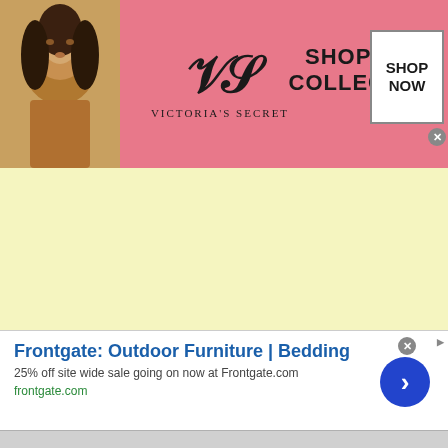[Figure (advertisement): Victoria's Secret banner advertisement with pink background, woman's photo on left, VS logo in center, 'SHOP THE COLLECTION' text and 'SHOP NOW' button on right]
[Figure (advertisement): Pale yellow content placeholder area]
[Figure (advertisement): Frontgate Outdoor Furniture and Bedding advertisement with '25% off site wide sale going on now at Frontgate.com' and frontgate.com URL, with blue arrow button on right]